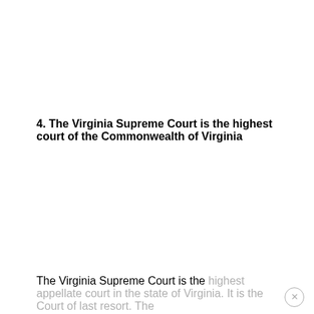4. The Virginia Supreme Court is the highest court of the Commonwealth of Virginia
The Virginia Supreme Court is the highest appellate court in the state of Virginia. It is the Court of last resort. The